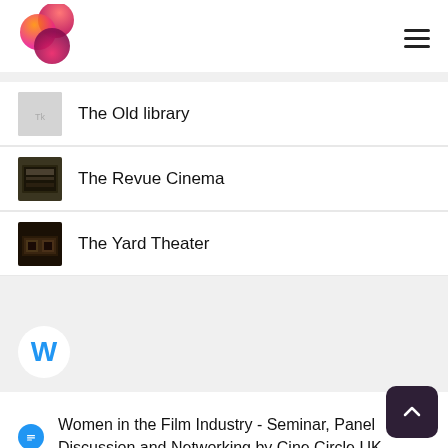[Figure (logo): Three overlapping circles logo in red/pink/orange gradient]
The Old library
The Revue Cinema
The Yard Theater
W
Women in the Film Industry - Seminar, Panel Discussion and Networking by Cine Circle UK
Woolf and Wonder Show